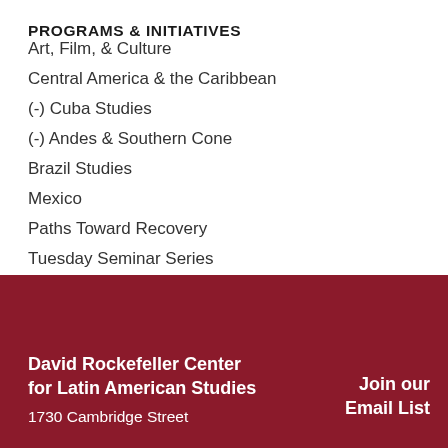PROGRAMS & INITIATIVES
Art, Film, & Culture
Central America & the Caribbean
(-) Cuba Studies
(-) Andes & Southern Cone
Brazil Studies
Mexico
Paths Toward Recovery
Tuesday Seminar Series
David Rockefeller Center for Latin American Studies
1730 Cambridge Street
Join our Email List